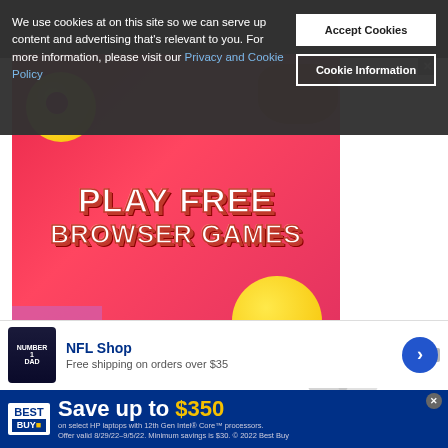We use cookies at on this site so we can serve up content and advertising that's relevant to you. For more information, please visit our Privacy and Cookie Policy
[Figure (other): Two buttons: 'Accept Cookies' and 'Cookie Information' on dark cookie consent banner]
[Figure (advertisement): Colorful advertisement banner with text 'PLAY FREE BROWSER GAMES' on a red/pink background with 3D emoji and game controller graphics]
[Figure (advertisement): NFL Shop advertisement showing football jersey with text 'NFL Shop - Free shipping on orders over $35']
[Figure (advertisement): Best Buy advertisement: 'Save up to $350 on select HP laptops with 12th Gen Intel Core processors. Offer valid 8/29/22-9/5/22. Minimum savings is $30. © 2022 Best Buy']